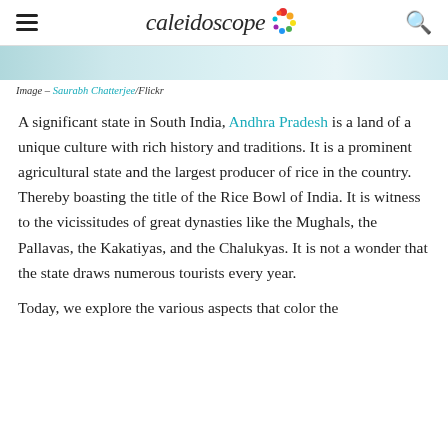Caleidoscope
[Figure (photo): Partial image strip at top of article, light teal/aqua colored image]
Image – Saurabh Chatterjee/Flickr
A significant state in South India, Andhra Pradesh is a land of a unique culture with rich history and traditions. It is a prominent agricultural state and the largest producer of rice in the country. Thereby boasting the title of the Rice Bowl of India. It is witness to the vicissitudes of great dynasties like the Mughals, the Pallavas, the Kakatiyas, and the Chalukyas. It is not a wonder that the state draws numerous tourists every year.
Today, we explore the various aspects that color the